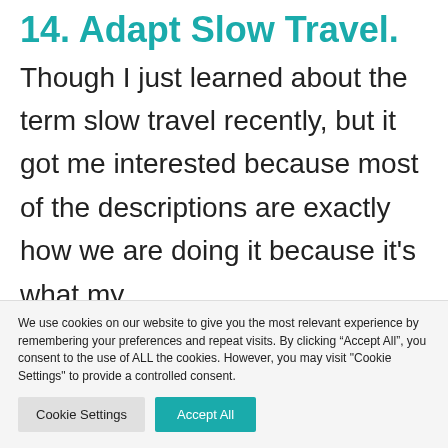14. Adapt Slow Travel.
Though I just learned about the term slow travel recently, but it got me interested because most of the descriptions are exactly how we are doing it because it’s what my
We use cookies on our website to give you the most relevant experience by remembering your preferences and repeat visits. By clicking “Accept All”, you consent to the use of ALL the cookies. However, you may visit "Cookie Settings" to provide a controlled consent.